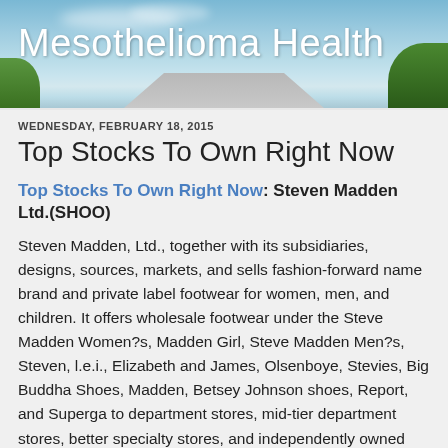[Figure (illustration): Website header banner with sky background, clouds, green trees on sides, road perspective, and white text 'Mesothelioma Health']
Mesothelioma Health
WEDNESDAY, FEBRUARY 18, 2015
Top Stocks To Own Right Now
Top Stocks To Own Right Now: Steven Madden Ltd.(SHOO)
Steven Madden, Ltd., together with its subsidiaries, designs, sources, markets, and sells fashion-forward name brand and private label footwear for women, men, and children. It offers wholesale footwear under the Steve Madden Women?s, Madden Girl, Steve Madden Men?s, Steven, l.e.i., Elizabeth and James, Olsenboye, Stevies, Big Buddha Shoes, Madden, Betsey Johnson shoes, Report, and Superga to department stores, mid-tier department stores, better specialty stores, and independently owned boutiques in the United States. The company also provides wholesale